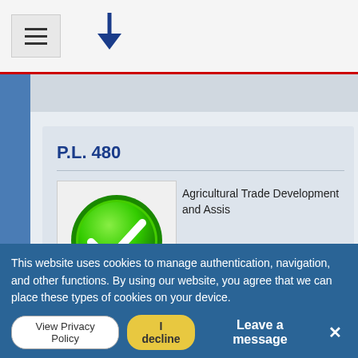☰  ↓
P.L. 480
[Figure (illustration): Green circle checkmark icon]
Agricultural Trade Development and Assis
Category: Sea Words
This website uses cookies to manage authentication, navigation, and other functions. By using our website, you agree that we can place these types of cookies on your device.
View Privacy Policy   I decline   Leave a message   ✕